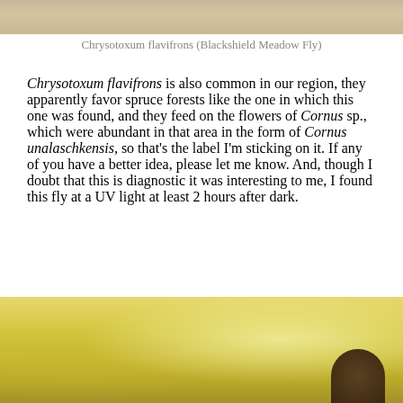[Figure (photo): Top portion of a photo of Chrysotoxum flavifrons (Blackshield Meadow Fly), cropped at bottom of frame showing fur-like texture in tan/brown tones]
Chrysotoxum flavifrons (Blackshield Meadow Fly)
Chrysotoxum flavifrons is also common in our region, they apparently favor spruce forests like the one in which this one was found, and they feed on the flowers of Cornus sp., which were abundant in that area in the form of Cornus unalaschkensis, so that’s the label I’m sticking on it. If any of you have a better idea, please let me know. And, though I doubt that this is diagnostic it was interesting to me, I found this fly at a UV light at least 2 hours after dark.
[Figure (photo): Bottom portion of page showing a close-up photo with yellow/golden textured surface, likely a flower or insect body, with a dark brown rounded shape visible at lower right]